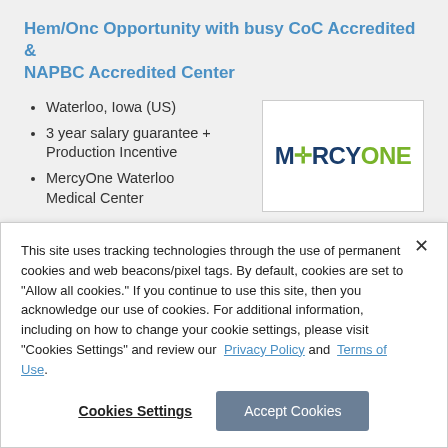Hem/Onc Opportunity with busy CoC Accredited & NAPBC Accredited Center
Waterloo, Iowa (US)
3 year salary guarantee + Production Incentive
MercyOne Waterloo Medical Center
[Figure (logo): MercyOne logo in dark blue and green]
Become part of the only comprehensive, accredited
This site uses tracking technologies through the use of permanent cookies and web beacons/pixel tags. By default, cookies are set to "Allow all cookies." If you continue to use this site, then you acknowledge our use of cookies. For additional information, including on how to change your cookie settings, please visit "Cookies Settings" and review our Privacy Policy and Terms of Use.
Cookies Settings
Accept Cookies